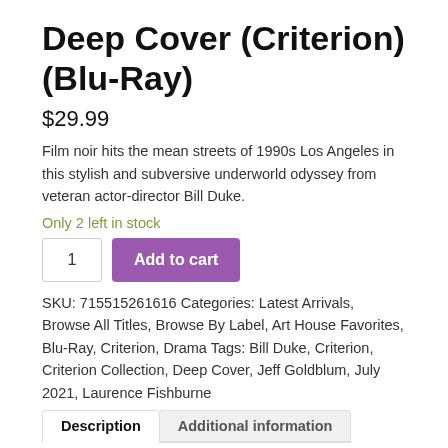Deep Cover (Criterion) (Blu-Ray)
$29.99
Film noir hits the mean streets of 1990s Los Angeles in this stylish and subversive underworld odyssey from veteran actor-director Bill Duke.
Only 2 left in stock
1  Add to cart
SKU: 715515261616 Categories: Latest Arrivals, Browse All Titles, Browse By Label, Art House Favorites, Blu-Ray, Criterion, Drama Tags: Bill Duke, Criterion, Criterion Collection, Deep Cover, Jeff Goldblum, July 2021, Laurence Fishburne
Description  Additional information